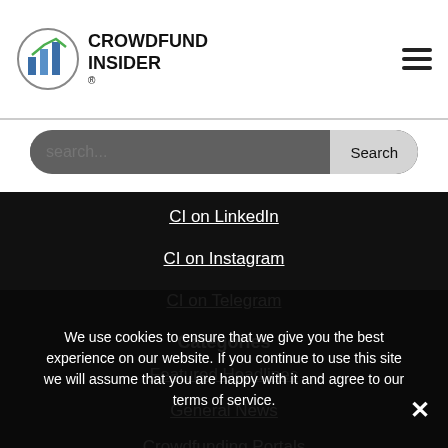[Figure (logo): Crowdfund Insider logo with bar chart icon and registered trademark symbol]
search...
CI on LinkedIn
CI on Instagram
CI on Telegram
Categories
Featured Headlines
General News
Crowdfunding Portals
Politics
Strategy
Offerings
Global
Fintech
Real Estate
We use cookies to ensure that we give you the best experience on our website. If you continue to use this site we will assume that you are happy with it and agree to our terms of service.